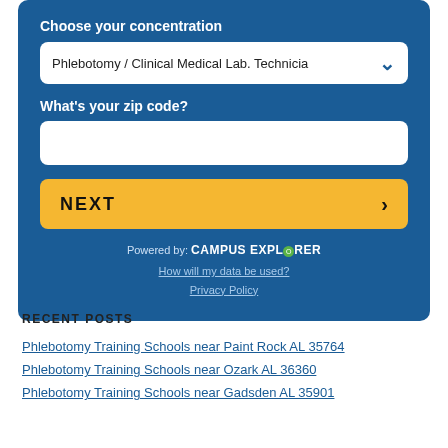Choose your concentration
Phlebotomy / Clinical Medical Lab. Technicia
What's your zip code?
NEXT
Powered by: CAMPUS EXPLORER
How will my data be used?
Privacy Policy
RECENT POSTS
Phlebotomy Training Schools near Paint Rock AL 35764
Phlebotomy Training Schools near Ozark AL 36360
Phlebotomy Training Schools near Gadsden AL 35901